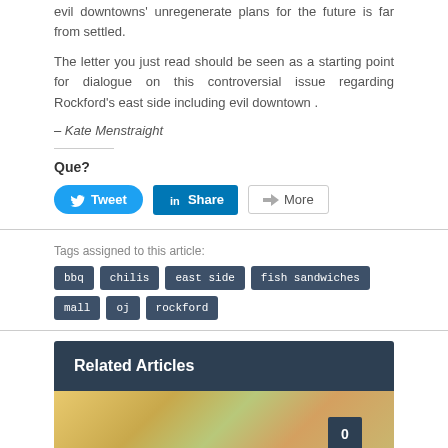evil downtowns' unregenerate plans for the future is far from settled.
The letter you just read should be seen as a starting point for dialogue on this controversial issue regarding Rockford's east side including evil downtown .
– Kate Menstraight
Que?
[Figure (infographic): Social sharing buttons: Tweet (Twitter/blue pill), Share (LinkedIn/blue square), More (gray outlined)]
Tags assigned to this article:
bbq
chilis
east side
fish sandwiches
mall
oj
rockford
Related Articles
[Figure (photo): Food photo showing a colorful dish, with a badge showing the number 0]